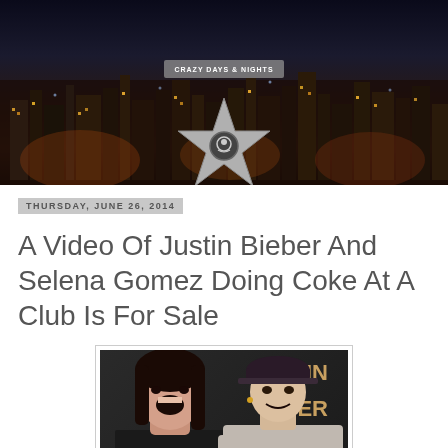[Figure (photo): Blog header banner for 'Crazy Days and Nights' — nighttime city skyline with lights, featuring a large star logo with a camera/person icon in the center]
THURSDAY, JUNE 26, 2014
A Video Of Justin Bieber And Selena Gomez Doing Coke At A Club Is For Sale
[Figure (photo): Photo of Selena Gomez and Justin Bieber together, partial text 'TIN ER' visible in background]